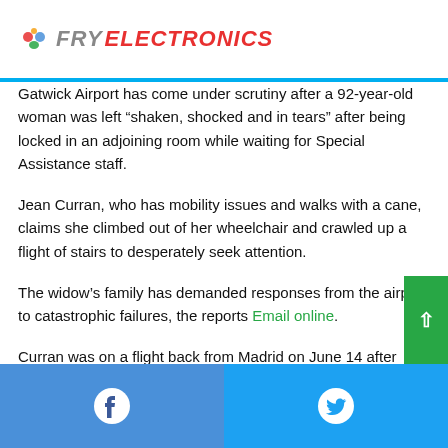FRY ELECTRONICS
Gatwick Airport has come under scrutiny after a 92-year-old woman was left “shaken, shocked and in tears” after being locked in an adjoining room while waiting for Special Assistance staff.
Jean Curran, who has mobility issues and walks with a cane, claims she climbed out of her wheelchair and crawled up a flight of stairs to desperately seek attention.
The widow’s family has demanded responses from the airport to catastrophic failures, the reports Email online.
Curran was on a flight back from Madrid on June 14 after traveling with her family to attend her grandson’s wedding.
Facebook | Twitter